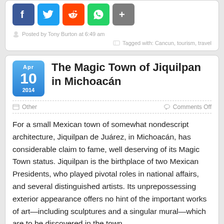[Figure (other): Social sharing icons: Facebook (blue), Twitter (light blue), Reddit (orange), WhatsApp (green), Share (grey)]
Posted by Tony Burton at 6:49 am
Tagged with: Cancun, tourism, travel
The Magic Town of Jiquilpan in Michoacán
Other    Comments Off
For a small Mexican town of somewhat nondescript architecture, Jiquilpan de Juárez, in Michoacán, has considerable claim to fame, well deserving of its Magic Town status. Jiquilpan is the birthplace of two Mexican Presidents, who played pivotal roles in national affairs, and several distinguished artists. Its unprepossessing exterior appearance offers no hint of the important works of art—including sculptures and a singular mural—which are to be discovered in the town.